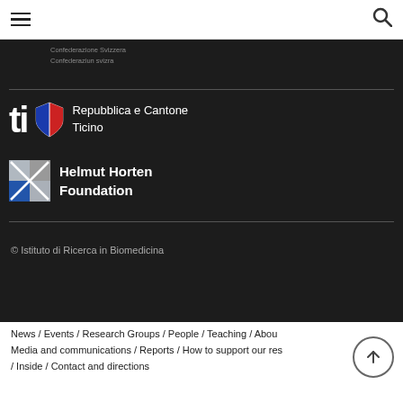Navigation bar with hamburger menu and search icon
Confederazione Svizzera
Confederaziun svizra
[Figure (logo): Repubblica e Cantone Ticino logo with 'ti' text and shield icon in red and blue]
[Figure (logo): Helmut Horten Foundation logo with X-shaped geometric icon in blue, red, and grey]
© Istituto di Ricerca in Biomedicina
News / Events / Research Groups / People / Teaching / About / Media and communications / Reports / How to support our research / Inside / Contact and directions